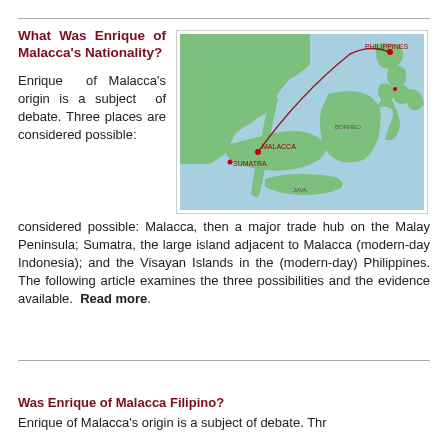What Was Enrique of Malacca's Nationality?
[Figure (map): Map showing Southeast Asia with a route line connecting points near Malacca, Sumatra, and the Philippines (Visayan Islands area), with labeled red dots and a curved arc line.]
Enrique of Malacca's origin is a subject of debate. Three places are considered possible: Malacca, then a major trade hub on the Malay Peninsula; Sumatra, the large island adjacent to Malacca (modern-day Indonesia); and the Visayan Islands in the (modern-day) Philippines. The following article examines the three possibilities and the evidence available. Read more.
Was Enrique of Malacca Filipino?
Enrique of Malacca's origin is a subject of debate. Thr